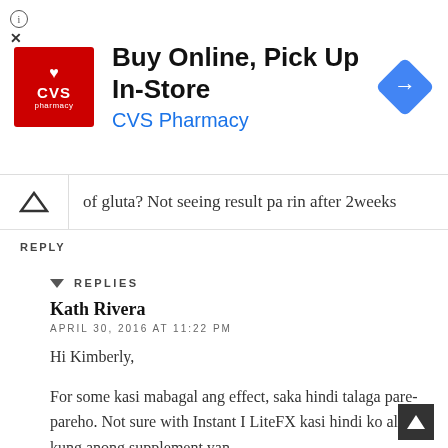[Figure (other): CVS Pharmacy advertisement banner: Buy Online, Pick Up In-Store with CVS Pharmacy logo and navigation arrow icon]
of gluta? Not seeing result pa rin after 2weeks
REPLY
REPLIES
Kath Rivera
APRIL 30, 2016 AT 11:22 PM
Hi Kimberly,
For some kasi mabagal ang effect, saka hindi talaga pare-pareho. Not sure with Instant I LiteFX kasi hindi ko alam kung anong supplement yan.
REPLY